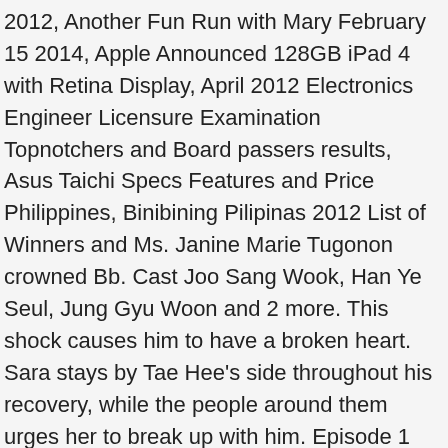2012, Another Fun Run with Mary February 15 2014, Apple Announced 128GB iPad 4 with Retina Display, April 2012 Electronics Engineer Licensure Examination Topnotchers and Board passers results, Asus Taichi Specs Features and Price Philippines, Binibining Pilipinas 2012 List of Winners and Ms. Janine Marie Tugonon crowned Bb. Cast Joo Sang Wook, Han Ye Seul, Jung Gyu Woon and 2 more. This shock causes him to have a broken heart. Sara stays by Tae Hee's side throughout his recovery, while the people around them urges her to break up with him. Episode 1 Melting Me Softly. Also attending the event, are King Hubert, and his son, Prince Phillip, who have journeyed from a neighboring kingdom. READ, Tagged with: Watch current hit TV shows and acclaimed movies. Tae Hee and Keum Ran spend their first day together as a couple. Birth of Beauty starts out relatively strong but slows down from about episode 5. Birth of a Beauty is available for streaming on SBS, both individual episodes and full seasons. Pinoy Funny Quotes Images. ... Big Rock Farm